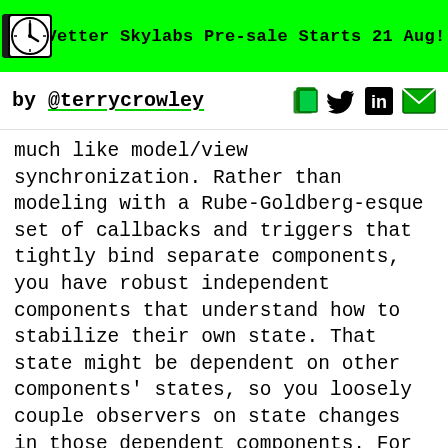Vetter Skylabs Pre-sale Starts 21 Aug!
by @terrycrowley
much like model/view synchronization. Rather than modeling with a Rube-Goldberg-esque set of callbacks and triggers that tightly bind separate components, you have robust independent components that understand how to stabilize their own state. That state might be dependent on other components' states, so you loosely couple observers on state changes in those dependent components. For example, in the model/view case the simplest “observer” just sets a dirty bit when the model changes. The view is responsible for efficiently figuring out what changed and efficiently updating the display. This is essentially how Facebook’s React (and many older technologies for building graphical applications)